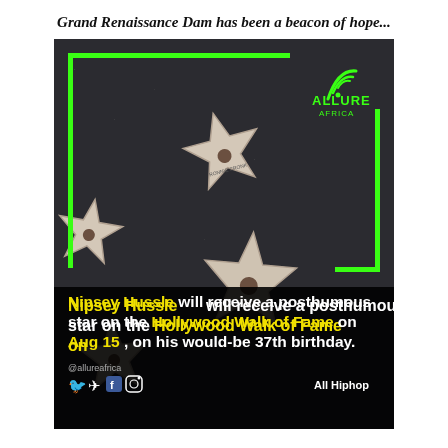Grand Renaissance Dam has been a beacon of hope...
[Figure (photo): Photo of Hollywood Walk of Fame stars embedded in dark granite sidewalk, showing star plaques including Anthony Hopkins and others. Image is overlaid with a green L-shaped border frame and the Allure Africa logo in the top right corner. At the bottom, bold text reads: Nipsey Hussle will receive a posthumous star on the Hollywood Walk of Fame on Aug 15, on his would-be 37th birthday. Social media handle @allureafrica and icons appear at bottom left, and 'All Hiphop' appears at bottom right.]